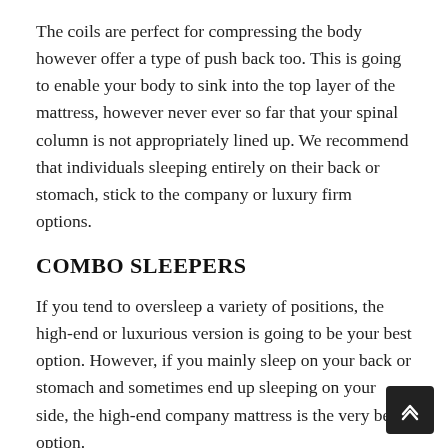The coils are perfect for compressing the body however offer a type of push back too. This is going to enable your body to sink into the top layer of the mattress, however never ever so far that your spinal column is not appropriately lined up. We recommend that individuals sleeping entirely on their back or stomach, stick to the company or luxury firm options.
COMBO SLEEPERS
If you tend to oversleep a variety of positions, the high-end or luxurious version is going to be your best option. However, if you mainly sleep on your back or stomach and sometimes end up sleeping on your side, the high-end company mattress is the very best option.
Whereas if you spend more time in your corner